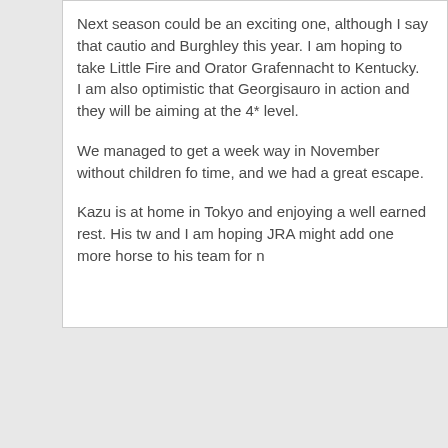Next season could be an exciting one, although I say that cautio and Burghley this year. I am hoping to take Little Fire and Orator Grafennacht to Kentucky.  I am also optimistic that Georgisauro in action and they will be aiming at the 4* level.

We managed to get a week way in November without children fo time, and we had a great escape.

Kazu is at home in Tokyo and enjoying a well earned rest. His tw and I am hoping JRA might add one more horse to his team for n
News Archive »